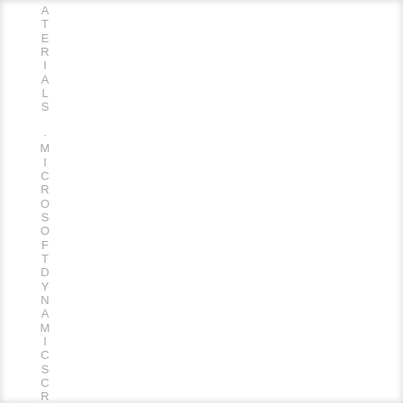ATERIALS · MICROSOFT DYNAMICS CRMM